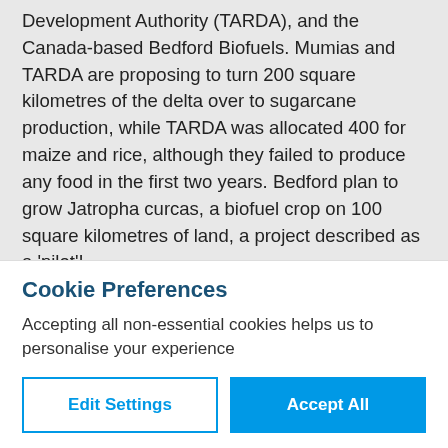Development Authority (TARDA), and the Canada-based Bedford Biofuels. Mumias and TARDA are proposing to turn 200 square kilometres of the delta over to sugarcane production, while TARDA was allocated 400 for maize and rice, although they failed to produce any food in the first two years. Bedford plan to grow Jatropha curcas, a biofuel crop on 100 square kilometres of land, a project described as a 'pilot'!

Kenya's National Environment Management Authority
Cookie Preferences
Accepting all non-essential cookies helps us to personalise your experience
Edit Settings | Accept All